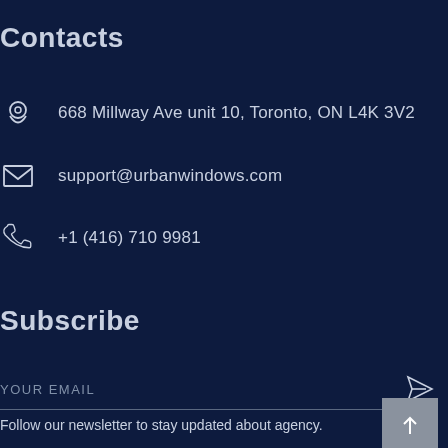Contacts
668 Millway Ave unit 10, Toronto, ON L4K 3V2
support@urbanwindows.com
+1 (416) 710 9981
Subscribe
YOUR EMAIL
Follow our newsletter to stay updated about agency.